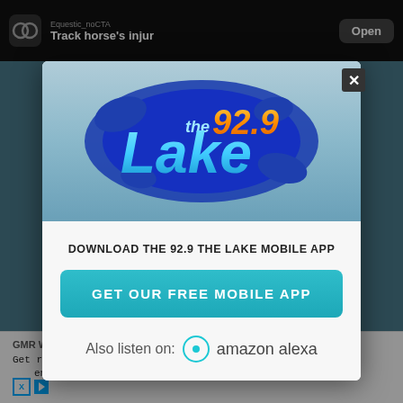[Figure (screenshot): Mobile app promotion popup for 92.9 The Lake radio station, with a logo on a teal/blue gradient background, a download prompt, a teal 'GET OUR FREE MOBILE APP' button, and an 'Also listen on: amazon alexa' line. Background shows a horse training app ad and a GMR Web Team ad at the bottom.]
DOWNLOAD THE 92.9 THE LAKE MOBILE APP
GET OUR FREE MOBILE APP
Also listen on: amazon alexa
GMR Web Team
Get recommendations on what will be best for y ent care practice.